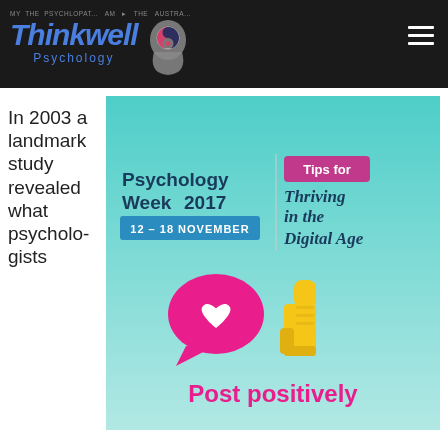[Figure (logo): Thinkwell Psychology logo with stylized head icon on dark background navigation bar]
In 2003 a landmark study revealed what psychologists
[Figure (infographic): Psychology Week 2017, 12-18 November. Tips for Thriving in the Digital Age. Post positively. Features pink heart speech bubble and yellow thumbs up icon on teal gradient background.]